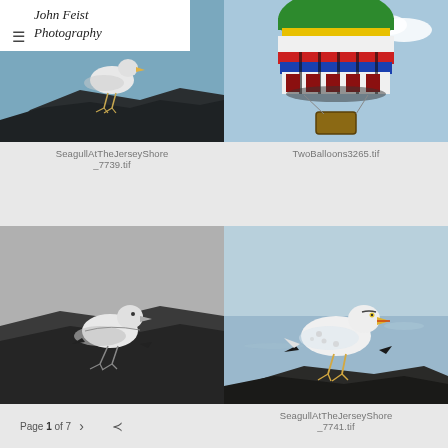John Feist Photography
[Figure (photo): Seagull standing on dark rocks, blue sky and water background — SeagullAtTheJerseyShore_7739.tif]
[Figure (photo): Colorful hot air balloon with green/yellow/red/blue/white stripes against blue sky — TwoBalloons3265.tif]
SeagullAtTheJerseyShore_7739.tif
TwoBalloons3265.tif
[Figure (photo): Black and white photo of a seagull standing on rocky beach]
[Figure (photo): Color photo of a seagull standing on rocks near water — SeagullAtTheJerseyShore_7741.tif]
Page 1 of 7
SeagullAtTheJerseyShore_7741.tif